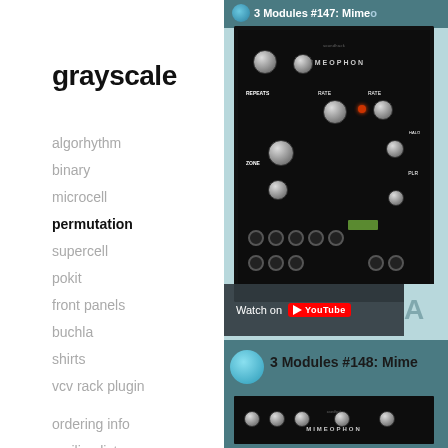grayscale
algorhythm
binary
microcell
permutation
supercell
pokit
front panels
buchla
shirts
vcv rack plugin
ordering info
mailing list
paypal checkout
[Figure (screenshot): YouTube video thumbnail showing '3 Modules #147: Mimeophon' with a synthesizer module photo and Watch on YouTube overlay]
[Figure (screenshot): YouTube video thumbnail showing '3 Modules #148: Mime...' with a synthesizer module photo, partially visible at bottom]